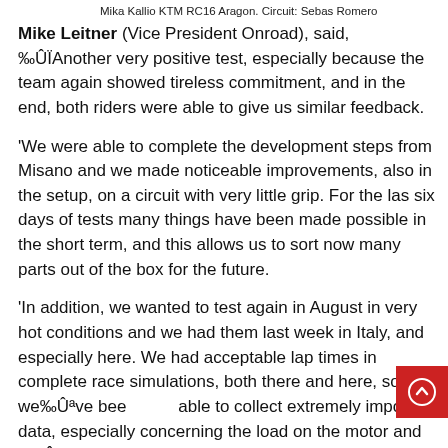Mika Kallio KTM RC16 Aragon. Circuit: Sebas Romero
Mike Leitner (Vice President Onroad), said, ‰ÛÏAnother very positive test, especially because the team again showed tireless commitment, and in the end, both riders were able to give us similar feedback.
'We were able to complete the development steps from Misano and we made noticeable improvements, also in the setup, on a circuit with very little grip. For the las six days of tests many things have been made possible in the short term, and this allows us to sort now many parts out of the box for the future.
'In addition, we wanted to test again in August in very hot conditions and we had them last week in Italy, and especially here. We had acceptable lap times in complete race simulations, both there and here, so we‰Ûªve been able to collect extremely important data, especially concerning the load on the motor and it‰Ûªs relevant